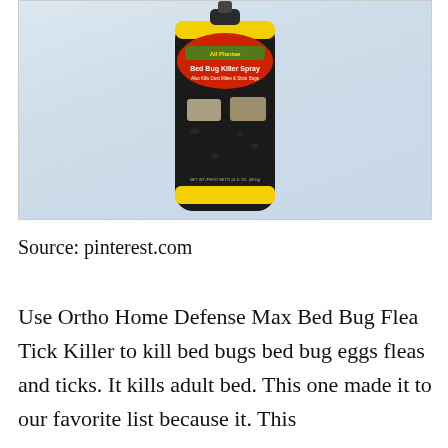[Figure (photo): Photo of a spray can of bed bug killer product (All Plantae / EcoSmart Bed Bug Killer Spray) against a light blue-grey background. The can has a black body with yellow and red label elements.]
Source: pinterest.com
Use Ortho Home Defense Max Bed Bug Flea Tick Killer to kill bed bugs bed bug eggs fleas and ticks. It kills adult bed. This one made it to our favorite list because it. This